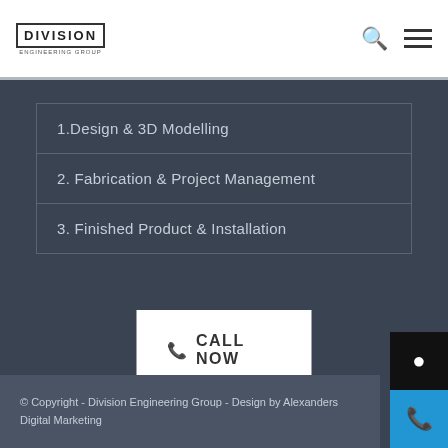DIVISION
1.Design & 3D Modelling
2. Fabrication & Project Management
3. Finished Product & Installation
✆ CALL NOW
© Copyright - Division Engineering Group - Design by Alexanders Digital Marketing